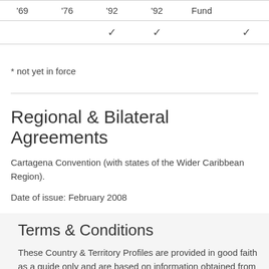| '69 | '76 | '92 | '92 | Fund |
| --- | --- | --- | --- | --- |
|  |  | ✓ | ✓ |  | ✓ |
* not yet in force
Regional & Bilateral Agreements
Cartagena Convention (with states of the Wider Caribbean Region).
Date of issue: February 2008
Terms & Conditions
These Country & Territory Profiles are provided in good faith as a guide only and are based on information obtained from a variety of sources over a